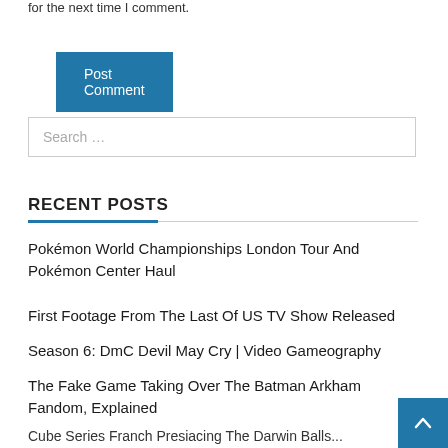for the next time I comment.
Post Comment
Search …
RECENT POSTS
Pokémon World Championships London Tour And Pokémon Center Haul
First Footage From The Last Of US TV Show Released
Season 6: DmC Devil May Cry | Video Gameography
The Fake Game Taking Over The Batman Arkham Fandom, Explained
Cube Series Franch Presiacing The Darwin Balls...